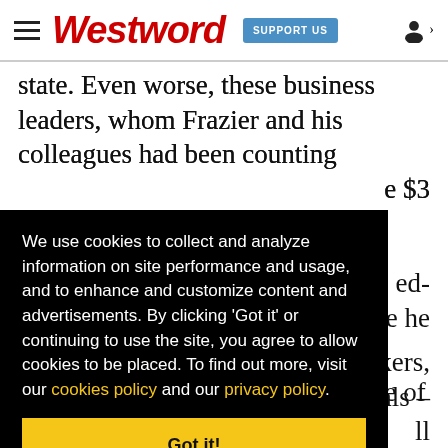Westword — SUPPORT US
state. Even worse, these business leaders, whom Frazier and his colleagues had been counting [on to…] e $3
We use cookies to collect and analyze information on site performance and usage, and to enhance and customize content and advertisements. By clicking 'Got it' or continuing to use the site, you agree to allow cookies to be placed. To find out more, visit our cookies policy and our privacy policy.
Got it!
Frazier and Coors also became one of the main